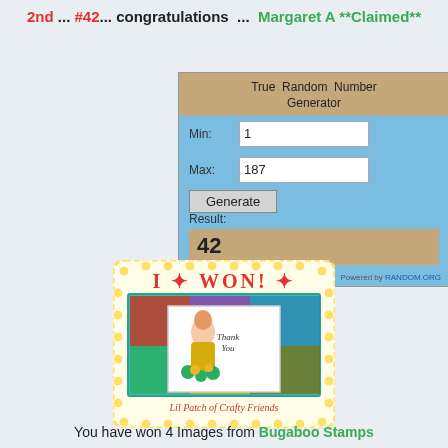2nd ... #42... congratulations ... Margaret A **Claimed**
[Figure (screenshot): True Random Number Generator screenshot showing Min: 1, Max: 187, Result: 42, powered by RANDOM.ORG]
[Figure (illustration): I WON! badge from Lil Patch of Crafty Friends with a girl holding autumn flowers and Thank You card, colorful patchwork background]
You have won 4 Images from Bugaboo Stamps